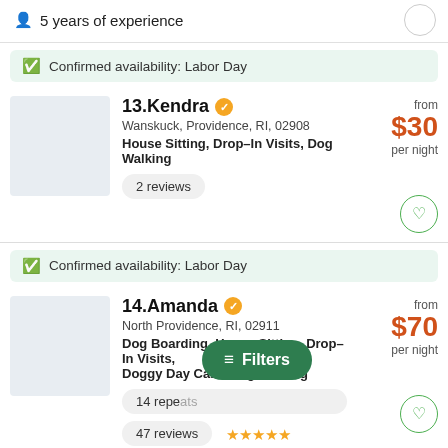5 years of experience
Confirmed availability: Labor Day
13. Kendra
Wanskuck, Providence, RI, 02908
House Sitting, Drop-In Visits, Dog Walking
from $30 per night
2 reviews
Confirmed availability: Labor Day
14. Amanda
North Providence, RI, 02911
Dog Boarding, House Sitting, Drop-In Visits, Doggy Day Care, Dog Walking
from $70 per night
14 repeats
47 reviews
Filters